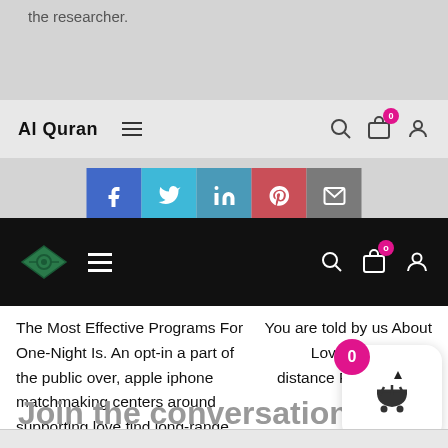the researcher.
Al Quran  ≡  🔍  🛍0  👤
[Figure (screenshot): Social sharing buttons: Facebook, Twitter, LinkedIn, Pinterest, Email]
Al Quran logo (diamond) ≡ 🔍 🛍0 👤 (dark navigation bar)
The Most Effective Programs For One-Night Is. An opt-in a part of the public over, apple iphone matchmaking centers around supporting love find long-range relations, certainly not hook-ups
You are told by us About Love Talks: Long-distance Relationships
Join the conversation
[Figure (infographic): Cart widget with pink badge showing 0, basket icon with up arrow, white rounded card]